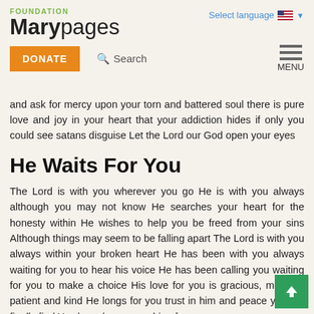FOUNDATION Marypages | Select language
and ask for mercy upon your torn and battered soul there is pure love and joy in your heart that your addiction hides if only you could see satans disguise Let the Lord our God open your eyes
He Waits For You
The Lord is with you wherever you go He is with you always although you may not know He searches your heart for the honesty within He wishes to help you be freed from your sins Although things may seem to be falling apart The Lord is with you always within your broken heart He has been with you always waiting for you to hear his voice He has been calling you waiting for you to make a choice His love for you is gracious, merciful, patient and kind He longs for you trust in him and peace you will finally find You have been searching for many